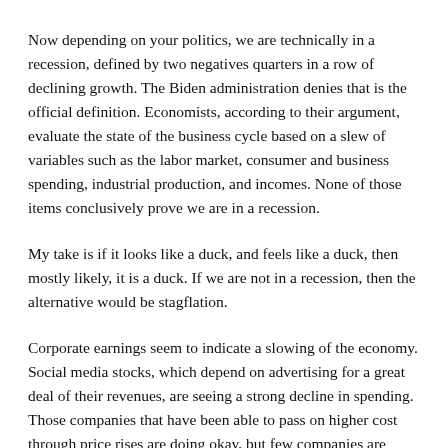Now depending on your politics, we are technically in a recession, defined by two negatives quarters in a row of declining growth. The Biden administration denies that is the official definition. Economists, according to their argument, evaluate the state of the business cycle based on a slew of variables such as the labor market, consumer and business spending, industrial production, and incomes. None of those items conclusively prove we are in a recession.
My take is if it looks like a duck, and feels like a duck, then mostly likely, it is a duck. If we are not in a recession, then the alternative would be stagflation.
Corporate earnings seem to indicate a slowing of the economy. Social media stocks, which depend on advertising for a great deal of their revenues, are seeing a strong decline in spending. Those companies that have been able to pass on higher cost through price rises are doing okay, but few companies are hitting results out of the